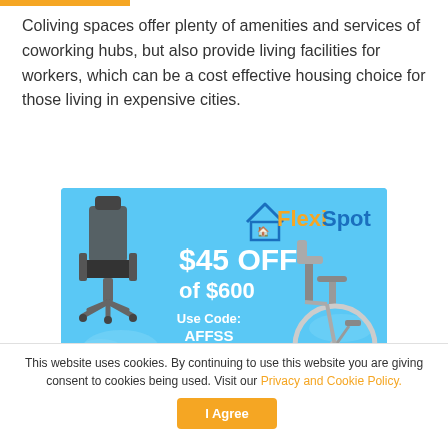Coliving spaces offer plenty of amenities and services of coworking hubs, but also provide living facilities for workers, which can be a cost effective housing choice for those living in expensive cities.
[Figure (illustration): FlexiSpot advertisement banner on light blue background. Shows an office chair, a standing desk, and an exercise bike. Text reads '$45 OFF of $600 Use Code: AFFSS' with FlexiSpot logo and house icon.]
This website uses cookies. By continuing to use this website you are giving consent to cookies being used. Visit our Privacy and Cookie Policy.